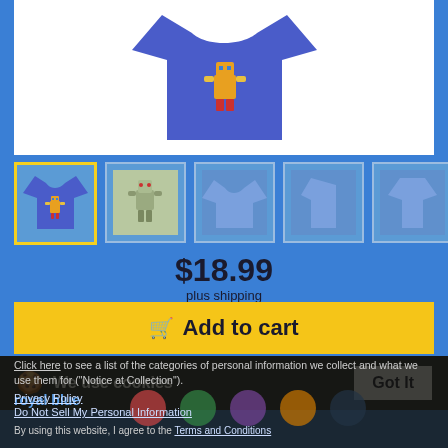[Figure (photo): Blue t-shirt with robot design on front, shown in product image area on white background]
[Figure (photo): Row of 5 product thumbnail images: selected blue t-shirt with design, robot graphic, plain blue t-shirt front, blue t-shirt side, blue t-shirt back]
$18.99
plus shipping
🛒 Add to cart
We use cookies
Got It
Click here to see a list of the categories of personal information we collect and what we use them for ("Notice at Collection").
Privacy Policy
Do Not Sell My Personal Information
By using this website, I agree to the Terms and Conditions
royal blue